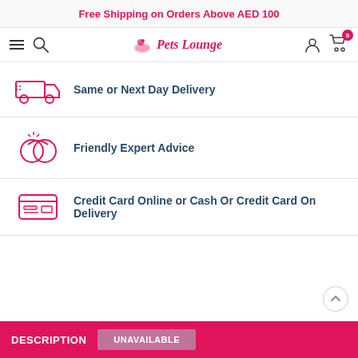Free Shipping on Orders Above AED 100
[Figure (logo): Pets Lounge logo with hamburger menu, search icon, account icon, and cart icon showing 0 items]
Same or Next Day Delivery
Friendly Expert Advice
Credit Card Online or Cash Or Credit Card On Delivery
DESCRIPTION
UNAVAILABLE